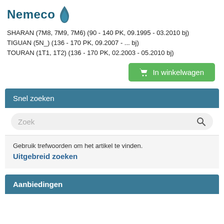[Figure (logo): Nemeco logo with flame/water drop icon in teal/dark blue]
SHARAN (7M8, 7M9, 7M6) (90 - 140 PK, 09.1995 - 03.2010 bj)
TIGUAN (5N_) (136 - 170 PK, 09.2007 - ... bj)
TOURAN (1T1, 1T2) (136 - 170 PK, 02.2003 - 05.2010 bj)
In winkelwagen
Snel zoeken
Zoek
Gebruik trefwoorden om het artikel te vinden.
Uitgebreid zoeken
Aanbiedingen